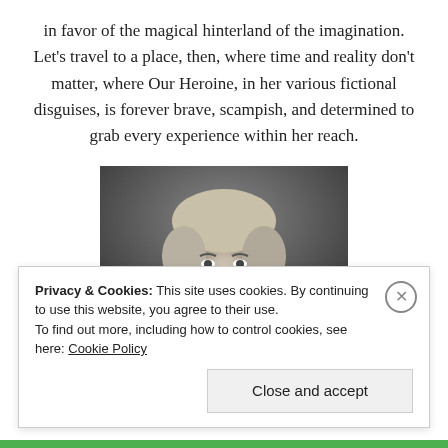in favor of the magical hinterland of the imagination. Let's travel to a place, then, where time and reality don't matter, where Our Heroine, in her various fictional disguises, is forever brave, scampish, and determined to grab every experience within her reach.
[Figure (photo): Black and white portrait photograph of a young woman with wavy light hair, smiling, looking at the camera, from approximately the 1930s or 1940s era.]
Privacy & Cookies: This site uses cookies. By continuing to use this website, you agree to their use.
To find out more, including how to control cookies, see here: Cookie Policy